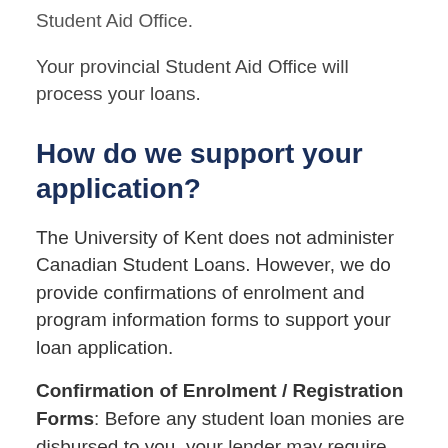Student Aid Office.
Your provincial Student Aid Office will process your loans.
How do we support your application?
The University of Kent does not administer Canadian Student Loans. However, we do provide confirmations of enrolment and program information forms to support your loan application.
Confirmation of Enrolment / Registration Forms: Before any student loan monies are disbursed to you, your lender may require the University of Kent to verify your student status to confirm that you have